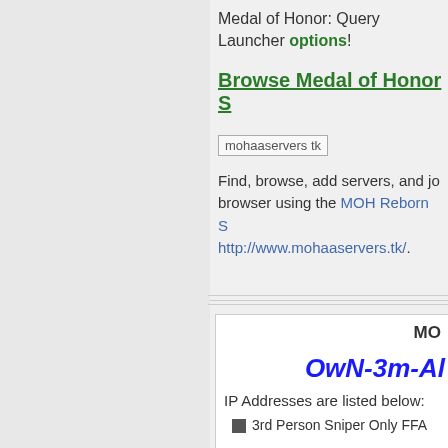Medal of Honor: Query Launcher options!
Browse Medal of Honor S
[Figure (other): mohaaservers tk image placeholder]
Find, browse, add servers, and jo browser using the MOH Reborn S http://www.mohaaservers.tk/.
MO
OwN-3m-Al
IP Addresses are listed below:
3rd Person Sniper Only FFA